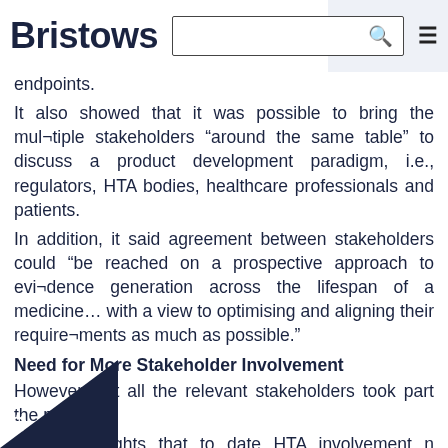Bristows
endpoints.
It also showed that it was possible to bring the mul¬tiple stakeholders “around the same table” to discuss a product development paradigm, i.e., regulators, HTA bodies, healthcare professionals and patients.
In addition, it said agreement between stakeholders could “be reached on a prospective approach to evi¬dence generation across the lifespan of a medicine… with a view to optimising and aligning their require¬ments as much as possible.”
Need for More Stakeholder Involvement
However, not all the relevant stakeholders took part the pilot.
report highlights that to date HTA involvement n limited and payers have not been involved